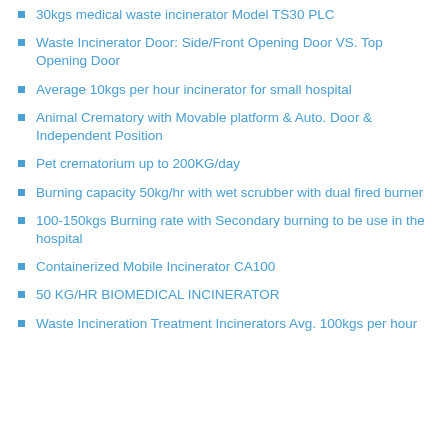30kgs medical waste incinerator Model TS30 PLC
Waste Incinerator Door: Side/Front Opening Door VS. Top Opening Door
Average 10kgs per hour incinerator for small hospital
Animal Crematory with Movable platform & Auto. Door & Independent Position
Pet crematorium up to 200KG/day
Burning capacity 50kg/hr with wet scrubber with dual fired burner
100-150kgs Burning rate with Secondary burning to be use in the hospital
Containerized Mobile Incinerator CA100
50 KG/HR BIOMEDICAL INCINERATOR
Waste Incineration Treatment Incinerators Avg. 100kgs per hour